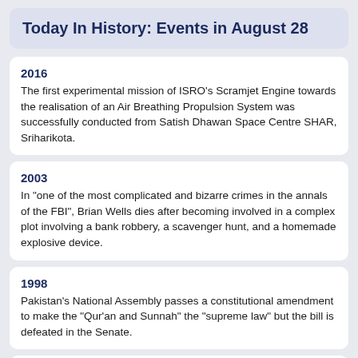Today In History: Events in August 28
2016
The first experimental mission of ISRO's Scramjet Engine towards the realisation of an Air Breathing Propulsion System was successfully conducted from Satish Dhawan Space Centre SHAR, Sriharikota.
2003
In "one of the most complicated and bizarre crimes in the annals of the FBI", Brian Wells dies after becoming involved in a complex plot involving a bank robbery, a scavenger hunt, and a homemade explosive device.
1998
Pakistan's National Assembly passes a constitutional amendment to make the "Qur'an and Sunnah" the "supreme law" but the bill is defeated in the Senate.
1998
Second Congo War: Loyalist troops backed by Angolan and Zimbabwean forces repulse the RCD and Rwandan offensive on Kinshasa.